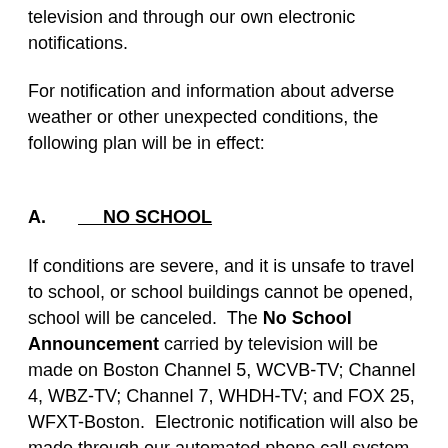television and through our own electronic notifications.
For notification and information about adverse weather or other unexpected conditions, the following plan will be in effect:
A.   NO SCHOOL
If conditions are severe, and it is unsafe to travel to school, or school buildings cannot be opened, school will be canceled.  The No School Announcement carried by television will be made on Boston Channel 5, WCVB-TV; Channel 4, WBZ-TV; Channel 7, WHDH-TV; and FOX 25, WFXT-Boston.  Electronic notification will also be made through our automated phone call system, email, social media, and on